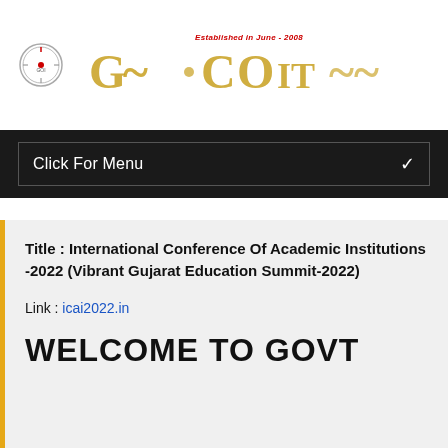[Figure (logo): Institution logo with circular emblem and golden stylized text header showing college/university name with 'Established in June - 2008' text in red italic]
Click For Menu ✓
Title : International Conference Of Academic Institutions -2022 (Vibrant Gujarat Education Summit-2022)
Link : icai2022.in
WELCOME TO GOVT